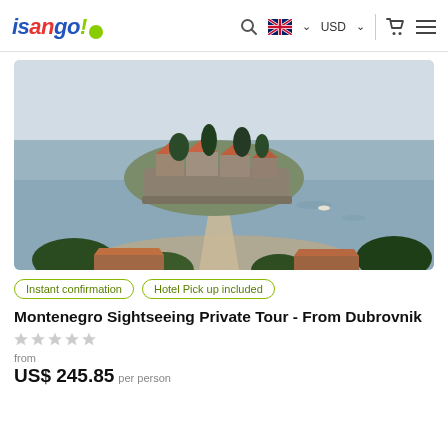isango! [search] [UK flag] [USD] [cart] [menu]
[Figure (photo): Aerial view of Sveti Stefan island in Montenegro, a small peninsula with orange-roofed stone buildings connected to shore by a causeway, surrounded by blue-grey sea]
Instant confirmation
Hotel Pick up included
Montenegro Sightseeing Private Tour - From Dubrovnik
★★★★★ (empty stars rating)
from US$ 245.85 per person